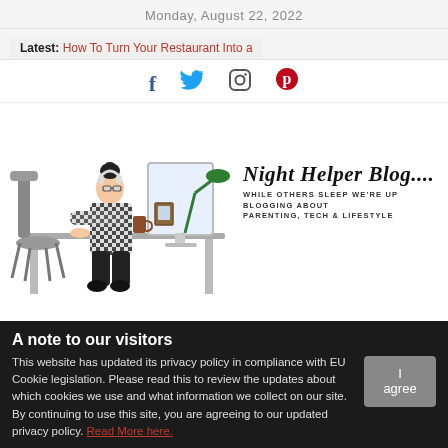Monday, August 22, 2022
Latest: How To Turn Your Restaurant Into a
[Figure (illustration): Social media icons: Facebook (f), Twitter (bird), Instagram (circle camera), Pinterest (p circle)]
[Figure (illustration): Illustration of a woman sitting at a desk working on a computer with headphones on, alongside the Night Helper Blog logo. Logo text: Night Helper Blog.... WHILE OTHERS SLEEP WE'RE UP BLOGGING ABOUT PARENTING, TECH & LIFESTYLE]
A note to our visitors
This website has updated its privacy policy in compliance with EU Cookie legislation. Please read this to review the updates about which cookies we use and what information we collect on our site. By continuing to use this site, you are agreeing to our updated privacy policy. Read More here.